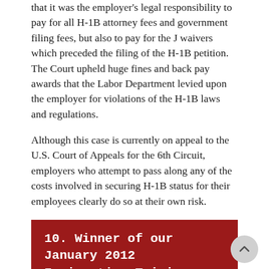that it was the employer's legal responsibility to pay for all H-1B attorney fees and government filing fees, but also to pay for the J waivers which preceded the filing of the H-1B petition. The Court upheld huge fines and back pay awards that the Labor Department levied upon the employer for violations of the H-1B laws and regulations.
Although this case is currently on appeal to the U.S. Court of Appeals for the 6th Circuit, employers who attempt to pass along any of the costs involved in securing H-1B status for their employees clearly do so at their own risk.
10. Winner of our January 2012 Immigration Trivia Quiz!
Quiz Removed
Below is the message that we received from the winner: